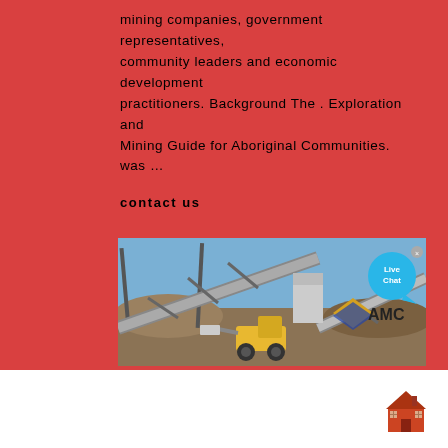mining companies, government representatives, community leaders and economic development practitioners. Background The . Exploration and Mining Guide for Aboriginal Communities. was …
contact us
[Figure (photo): Mining site photo showing industrial conveyor belts and structures, with a yellow front-end loader in the foreground and an AMC logo overlaid in the bottom right area of the image. A 'Live Chat' bubble appears in the top right corner of the image.]
[Figure (illustration): Small house/building icon in the bottom right corner of the page, rendered in red/orange tones.]